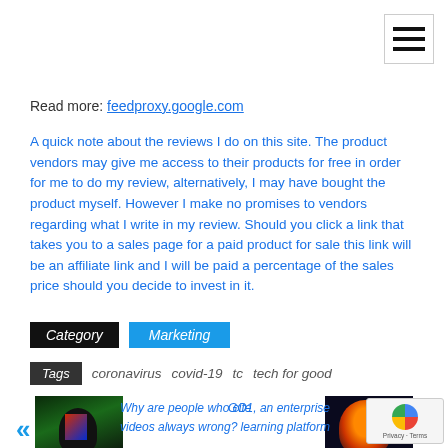Read more: feedproxy.google.com
A quick note about the reviews I do on this site. The product vendors may give me access to their products for free in order for me to do my review, alternatively, I may have bought the product myself. However I make no promises to vendors regarding what I write in my review. Should you click a link that takes you to a sales page for a paid product for sale this link will be an affiliate link and I will be paid a percentage of the sales price should you decide to invest in it.
Category   Marketing
Tags   coronavirus   covid-19   tc   tech for good
[Figure (photo): Thumbnail image for previous post: dark green background with person silhouette and red/blue screen]
Why are people who cite videos always wrong?
[Figure (photo): Thumbnail image for next post: dark background with orange head/brain illustration surrounded by circuit icons]
GO1, an enterprise learning platform